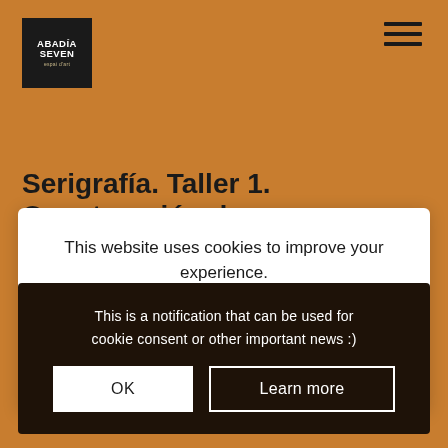[Figure (logo): Abadia Seven logo — white text on black square background with small subtitle text]
[Figure (other): Hamburger menu icon — three horizontal black lines]
Serigrafía. Taller 1. Construcción de
This website uses cookies to improve your experience. We'll assume you're ok with this, but you can opt-out if you wish. Cookie settings ACCEPT
This is a notification that can be used for cookie consent or other important news :) OK Learn more